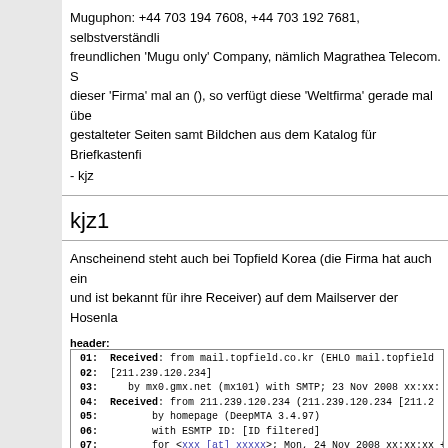Muguphon: +44 703 194 7608, +44 703 192 7681, selbstverständlich freundlichen 'Mugu only' Company, nämlich Magrathea Telecom. S dieser 'Firma' mal an (), so verfügt diese 'Weltfirma' gerade mal übe gestalteter Seiten samt Bildchen aus dem Katalog für Briefkastenfi
- kjz
kjz1
Anscheinend steht auch bei Topfield Korea (die Firma hat auch ein und ist bekannt für ihre Receiver) auf dem Mailserver der Hosenla
header:
| 01: | Received: from mail.topfield.co.kr (EHLO mail.topfield |
| 02: | [211.239.120.234] |
| 03: |     by mx0.gmx.net (mx101) with SMTP; 23 Nov 2008 xx:xx: |
| 04: | Received: from 211.239.120.234 (211.239.120.234 [211.2 |
| 05: |         by homepage (DeepMTA 3.4.97) |
| 06: |         with ESMTP ID: [ID filtered] |
| 07: |         for <xxx [at] xxxxx>; Mon, 24 Nov 2008 xx:xx:xx +0 |
| 08: | Received: from 81.91.227.12 (81.91.227.12 [81.91.227.1 |
| 09: |         by homepage (WBlock.pss 3.6.28) |
| 10: |         with ESMTP ID: [ID filtered] |
| 11: |         ; Sun, 23 Nov 2008 xx:xx:xx +0900 ---> Office des |
| 12: | Telecommications, BJ |